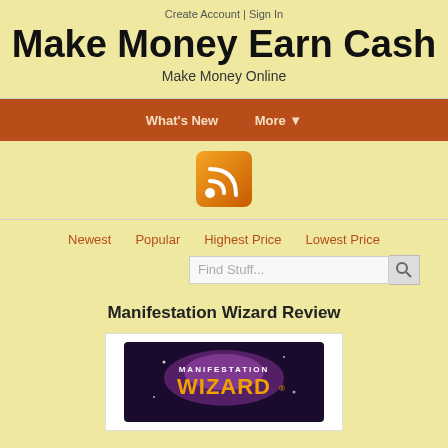Create Account | Sign In
Make Money Earn Cash
Make Money Online
What's New   More ▼
[Figure (logo): Orange RSS feed icon]
Newest   Popular   Highest Price   Lowest Price
Find Stuff...
Manifestation Wizard Review
[Figure (screenshot): Manifestation Wizard product image on dark background with purple sparkles and gold WIZARD text]